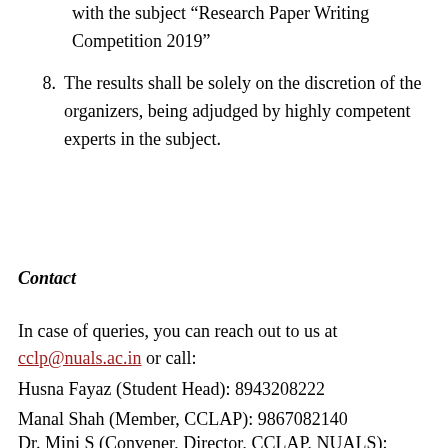with the subject “Research Paper Writing Competition 2019”
8. The results shall be solely on the discretion of the organizers, being adjudged by highly competent experts in the subject.
Contact
In case of queries, you can reach out to us at cclp@nuals.ac.in or call:
Husna Fayaz (Student Head): 8943208222
Manal Shah (Member, CCLAP): 9867082140
Dr. Mini S (Convener, Director, CCLAP, NUALS):